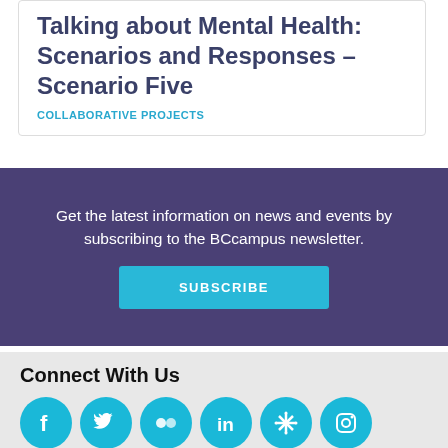Talking about Mental Health: Scenarios and Responses – Scenario Five
COLLABORATIVE PROJECTS
Get the latest information on news and events by subscribing to the BCcampus newsletter.
SUBSCRIBE
Connect With Us
[Figure (illustration): Row of six social media icons: Facebook, Twitter, Flickr, LinkedIn, a snowflake/asterisk icon, and Instagram, all in teal/cyan circles.]
Get the latest information on news and events by